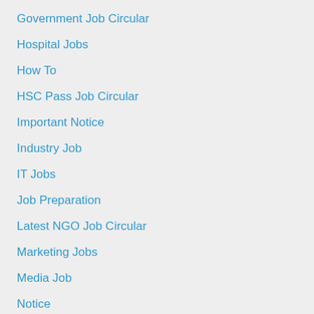Government Job Circular
Hospital Jobs
How To
HSC Pass Job Circular
Important Notice
Industry Job
IT Jobs
Job Preparation
Latest NGO Job Circular
Marketing Jobs
Media Job
Notice
Others Jobs
Pharma Jobs